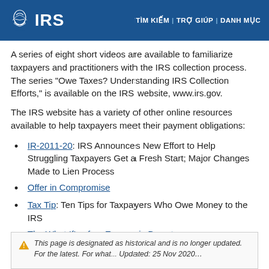IRS | TÌM KIẾM | TRỢ GIÚP | DANH MỤC
A series of eight short videos are available to familiarize taxpayers and practitioners with the IRS collection process. The series "Owe Taxes? Understanding IRS Collection Efforts," is available on the IRS website, www.irs.gov.
The IRS website has a variety of other online resources available to help taxpayers meet their payment obligations:
IR-2011-20: IRS Announces New Effort to Help Struggling Taxpayers Get a Fresh Start; Major Changes Made to Lien Process
Offer in Compromise
Tax Tip: Ten Tips for Taxpayers Who Owe Money to the IRS
The What If's of an Economic Downturn
This page is designated as historical and is no longer updated.